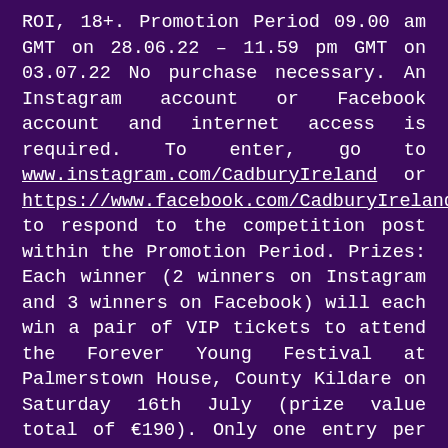ROI, 18+. Promotion Period 09.00 am GMT on 28.06.22 – 11.59 pm GMT on 03.07.22 No purchase necessary. An Instagram account or Facebook account and internet access is required. To enter, go to www.instagram.com/CadburyIreland or https://www.facebook.com/CadburyIreland to respond to the competition post within the Promotion Period. Prizes: Each winner (2 winners on Instagram and 3 winners on Facebook) will each win a pair of VIP tickets to attend the Forever Young Festival at Palmerstown House, County Kildare on Saturday 16th July (prize value total of €190). Only one entry per person is permitted. Max 1 prize per person. Prize draws to be conducted on Monday 04.07.22. Winners will be notified within 24 hours of prize draw via The